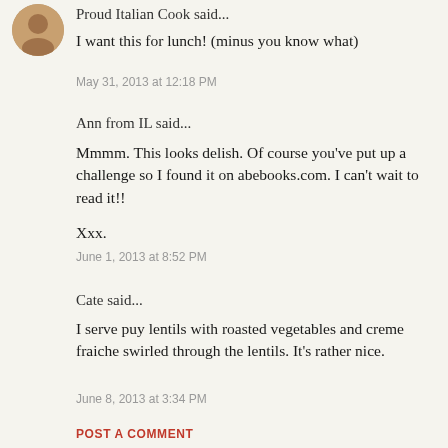[Figure (photo): Small circular avatar photo of a person]
Proud Italian Cook said...
I want this for lunch! (minus you know what)
May 31, 2013 at 12:18 PM
Ann from IL said...
Mmmm. This looks delish. Of course you've put up a challenge so I found it on abebooks.com. I can't wait to read it!!
Xxx.
June 1, 2013 at 8:52 PM
Cate said...
I serve puy lentils with roasted vegetables and creme fraiche swirled through the lentils. It's rather nice.
June 8, 2013 at 3:34 PM
POST A COMMENT